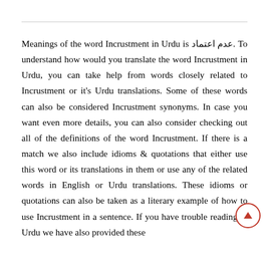Meanings of the word Incrustment in Urdu is عدم اعتماد. To understand how would you translate the word Incrustment in Urdu, you can take help from words closely related to Incrustment or it's Urdu translations. Some of these words can also be considered Incrustment synonyms. In case you want even more details, you can also consider checking out all of the definitions of the word Incrustment. If there is a match we also include idioms & quotations that either use this word or its translations in them or use any of the related words in English or Urdu translations. These idioms or quotations can also be taken as a literary example of how to use Incrustment in a sentence. If you have trouble reading in Urdu we have also provided these